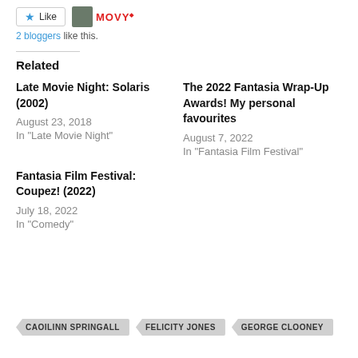2 bloggers like this.
Related
Late Movie Night: Solaris (2002)
August 23, 2018
In "Late Movie Night"
The 2022 Fantasia Wrap-Up Awards! My personal favourites
August 7, 2022
In "Fantasia Film Festival"
Fantasia Film Festival: Coupez! (2022)
July 18, 2022
In "Comedy"
CAOILINN SPRINGALL
FELICITY JONES
GEORGE CLOONEY